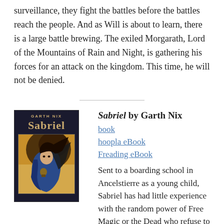surveillance, they fight the battles before the battles reach the people. And as Will is about to learn, there is a large battle brewing. The exiled Morgarath, Lord of the Mountains of Rain and Night, is gathering his forces for an attack on the kingdom. This time, he will not be denied.
[Figure (illustration): Book cover of 'Sabriel' by Garth Nix showing a young woman in a blue cloak with dark swirling hair against a dark background, with the author name 'GARTH NIX' and title 'SABRIEL' in gold lettering]
Sabriel by Garth Nix
book
hoopla eBook
Freading eBook
Sent to a boarding school in Ancelstierre as a young child, Sabriel has had little experience with the random power of Free Magic or the Dead who refuse to stay dead in the Old Kingdom. But during her final semester, her father, the